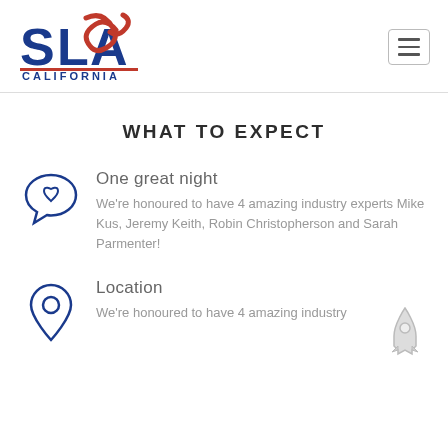[Figure (logo): SLA California logo with red ribbon accent and blue text]
WHAT TO EXPECT
One great night
We're honoured to have 4 amazing industry experts Mike Kus, Jeremy Keith, Robin Christopherson and Sarah Parmenter!
Location
We're honoured to have 4 amazing industry